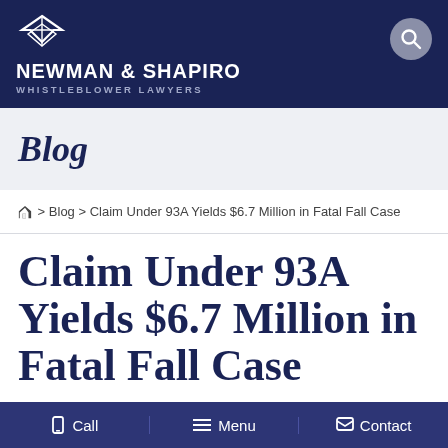NEWMAN & SHAPIRO WHISTLEBLOWER LAWYERS
Blog
Home > Blog > Claim Under 93A Yields $6.7 Million in Fatal Fall Case
Claim Under 93A Yields $6.7 Million in Fatal Fall Case
POSTED ON AUGUST 9, 2012
Call  Menu  Contact